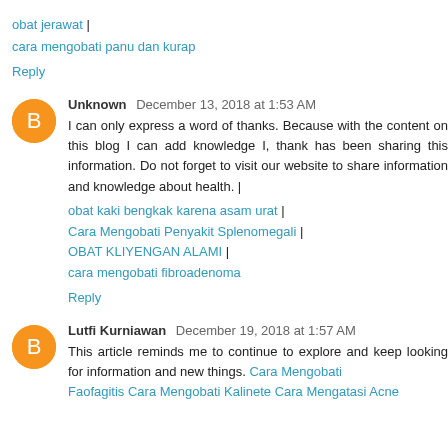obat jerawat | cara mengobati panu dan kurap
Reply
Unknown December 13, 2018 at 1:53 AM
I can only express a word of thanks. Because with the content on this blog I can add knowledge I, thank has been sharing this information. Do not forget to visit our website to share information and knowledge about health. | obat kaki bengkak karena asam urat | Cara Mengobati Penyakit Splenomegali | OBAT KLIYENGAN ALAMI | cara mengobati fibroadenoma
Reply
Lutfi Kurniawan December 19, 2018 at 1:57 AM
This article reminds me to continue to explore and keep looking for information and new things. Cara Mengobati Faofagitis Cara Mengobati Kalinete Cara Mengatasi Acne